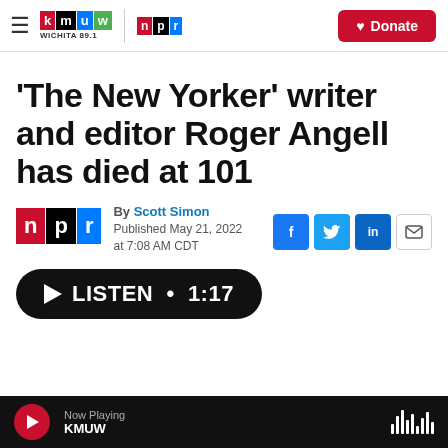KMUW WICHITA 89.1 | NPR | Donate
'The New Yorker' writer and editor Roger Angell has died at 101
By Scott Simon
Published May 21, 2022 at 7:08 AM CDT
[Figure (logo): NPR logo — red N, black P, blue R blocks]
[Figure (other): Social sharing buttons: Facebook (f), Twitter (bird), LinkedIn (in), Email (envelope)]
▶ LISTEN • 1:17
Now Playing KMUW